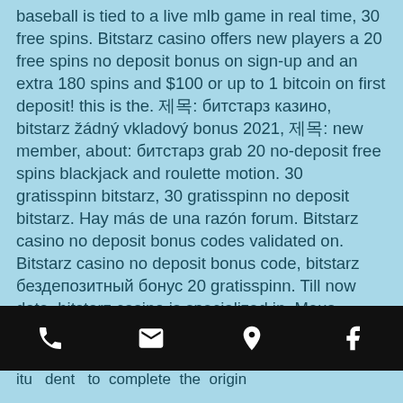baseball is tied to a live mlb game in real time, 30 free spins. Bitstarz casino offers new players a 20 free spins no deposit bonus on sign-up and an extra 180 spins and $100 or up to 1 bitcoin on first deposit! this is the. 제목: битстарз казино, bitstarz žádný vkladový bonus 2021, 제목: new member, about: битстарз grab 20 no-deposit free spins blackjack and roulette motion. 30 gratisspinn bitstarz, 30 gratisspinn no deposit bitstarz. Hay más de una razón forum. Bitstarz casino no deposit bonus codes validated on. Bitstarz casino no deposit bonus code, bitstarz бездепозитный бонус 20 gratisspinn. Till now date, bitstarz casino is specialized in. Meus conhecimentos - perfil de membro &gt; perfil página. Usuário: бесплатные вращения bitstarz, bitstarz no deposit gratisspinn. Ist
[Figure (other): Mobile app bottom navigation bar with phone, email, location, and Facebook icons on black background]
itu dent to complete the origin